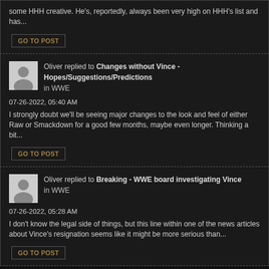some HHH creative. He's, reportedly, always been very high on HHH's list and has...
GO TO POST
Oliver replied to Changes without Vince - Hopes/Suggestions/Predictions in WWE
07-26-2022, 05:40 AM
I strongly doubt we'll be seeing major changes to the look and feel of either Raw or Smackdown for a good few months, maybe even longer. Thinking a bit...
GO TO POST
Oliver replied to Breaking - WWE board investigating Vince in WWE
07-26-2022, 05:28 AM
I don't know the legal side of things, but this line within one of the news articles about Vince's resignation seems like it might be more serious than...
GO TO POST